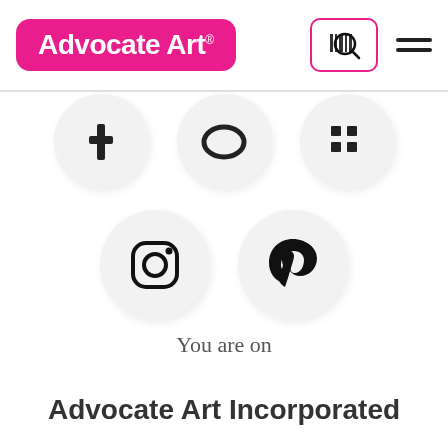[Figure (logo): Advocate Art logo with pink rounded rectangle background and white bold text reading 'Advocate Art' with registered trademark symbol]
[Figure (screenshot): Website navigation header with search icon in pink-bordered box and hamburger menu icon]
[Figure (infographic): Row of three social media icon circles (partially visible): Facebook, Twitter/X, LinkedIn]
[Figure (infographic): Row of two social media icon circles: Instagram and Pinterest]
You are on
Advocate Art Incorporated